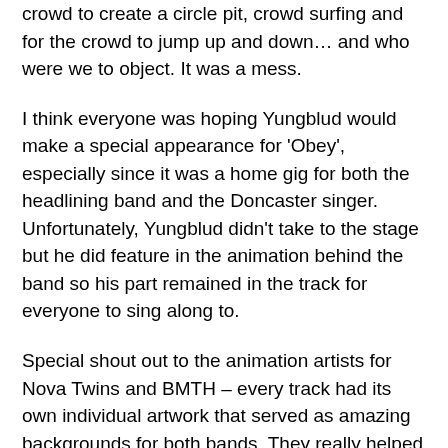crowd to create a circle pit, crowd surfing and for the crowd to jump up and down… and who were we to object. It was a mess.
I think everyone was hoping Yungblud would make a special appearance for 'Obey', especially since it was a home gig for both the headlining band and the Doncaster singer. Unfortunately, Yungblud didn't take to the stage but he did feature in the animation behind the band so his part remained in the track for everyone to sing along to.
Special shout out to the animation artists for Nova Twins and BMTH – every track had its own individual artwork that served as amazing backgrounds for both bands. They really helped to tie the show together and helped to take the concert to the next level.
The concert as a whole was an experience unlike any other. Bring Me The Horizon took their music to a new level by playing with such raw and rich emotion and turned their tracks